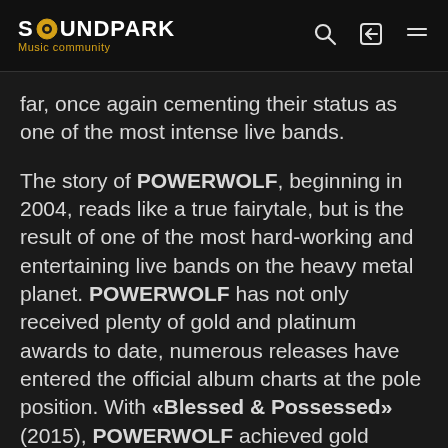SOUNDPARK Music community
far, once again cementing their status as one of the most intense live bands.
The story of POWERWOLF, beginning in 2004, reads like a true fairytale, but is the result of one of the most hard-working and entertaining live bands on the heavy metal planet. POWERWOLF has not only received plenty of gold and platinum awards to date, numerous releases have entered the official album charts at the pole position. With «Blessed & Possessed» (2015), POWERWOLF achieved gold status for the first time and stayed at the top of the charts for more than nine weeks, while the predecessor, «Preachers Of The Night» (2013) — as well as the incredible DVD, «The Metal Mass» (2016) —